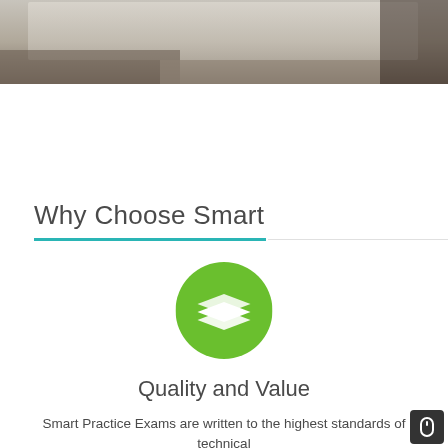[Figure (photo): Blurred photograph of a laptop/study desk environment, cropped at top]
Why Choose Smart
[Figure (illustration): Green circle icon with stacked layers / books symbol in white]
Quality and Value
Smart Practice Exams are written to the highest standards of technical